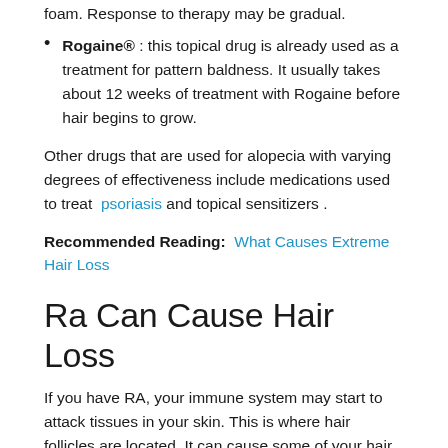foam. Response to therapy may be gradual.
Rogaine® : this topical drug is already used as a treatment for pattern baldness. It usually takes about 12 weeks of treatment with Rogaine before hair begins to grow.
Other drugs that are used for alopecia with varying degrees of effectiveness include medications used to treat psoriasis and topical sensitizers .
Recommended Reading: What Causes Extreme Hair Loss
Ra Can Cause Hair Loss
If you have RA, your immune system may start to attack tissues in your skin. This is where hair follicles are located. It can cause some of your hair to fall out.